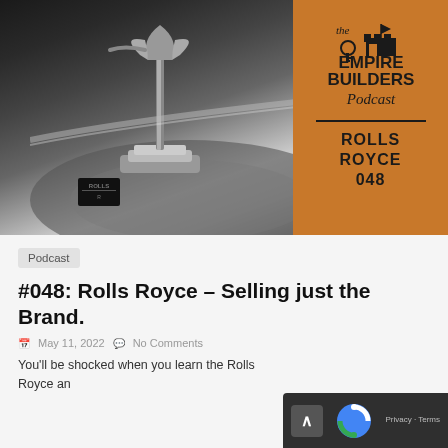[Figure (photo): Hero image showing the Rolls Royce Spirit of Ecstasy hood ornament in black and white, overlaid with The Empire Builders Podcast logo and orange panel showing episode 048]
Podcast
#048: Rolls Royce – Selling just the Brand.
May 11, 2022  No Comments
You'll be shocked when you learn the Rolls Royce an…